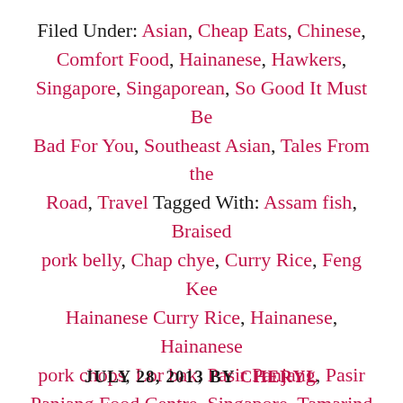Filed Under: Asian, Cheap Eats, Chinese, Comfort Food, Hainanese, Hawkers, Singapore, Singaporean, So Good It Must Be Bad For You, Southeast Asian, Tales From the Road, Travel Tagged With: Assam fish, Braised pork belly, Chap chye, Curry Rice, Feng Kee Hainanese Curry Rice, Hainanese, Hainanese pork chops, Lor bak, Pasir Panjang, Pasir Panjang Food Centre, Singapore, Tamarind fish, Tau pok, Tofu
JULY 28, 2013 BY CHERYL